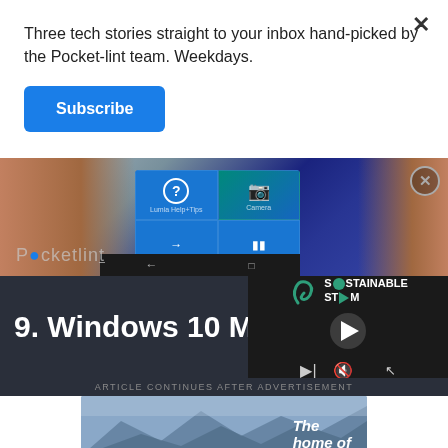Three tech stories straight to your inbox hand-picked by the Pocket-lint team. Weekdays.
Subscribe
[Figure (screenshot): Hand holding a Windows Phone showing tiles on the screen with question mark, camera, and other tiles. Pocket-lint watermark visible.]
9. Windows 10 M
[Figure (screenshot): Sustainable Storm video player panel with play button, teal progress bar, and media controls]
ARTICLE CONTINUES AFTER ADVERTISEMENT
[Figure (photo): Mountain landscape advertisement with italic text 'The home of' visible]